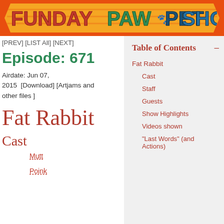[Figure (logo): Funday Paw Pet Show banner logo with orange parallelogram background and colorful cartoon text]
[PREV] [LIST All] [NEXT]
Episode: 671
Airdate: Jun 07, 2015  [Download] [Artjams and other files ]
Fat Rabbit
Cast
Mutt
Poink
Table of Contents –
Fat Rabbit
Cast
Staff
Guests
Show Highlights
Videos shown
"Last Words" (and Actions)